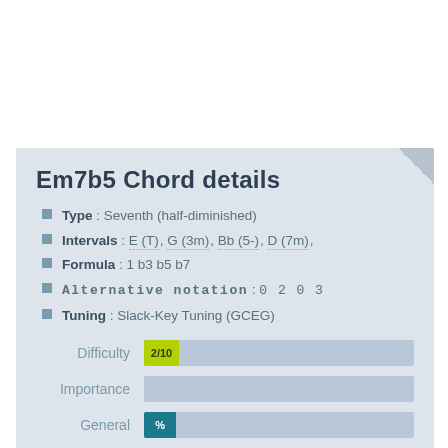Em7b5 Chord details
Type : Seventh (half-diminished)
Intervals : E (T), G (3m), Bb (5-), D (7m),
Formula : 1 b3 b5 b7
Alternative notation : 0 2 0 3
Tuning : Slack-Key Tuning (GCEG)
[Figure (bar-chart): Difficulty]
[Figure (bar-chart): Importance]
[Figure (bar-chart): General]